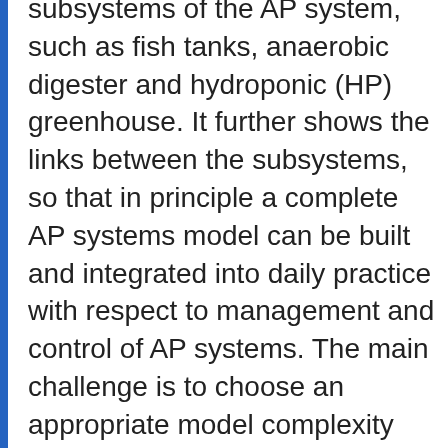subsystems of the AP system, such as fish tanks, anaerobic digester and hydroponic (HP) greenhouse. It further shows the links between the subsystems, so that in principle a complete AP systems model can be built and integrated into daily practice with respect to management and control of AP systems. The main challenge is to choose an appropriate model complexity that meets the experimental data for estimation of parameters and states and allows us to answer questions related to the modelling objective, such as simulation, experiment design,